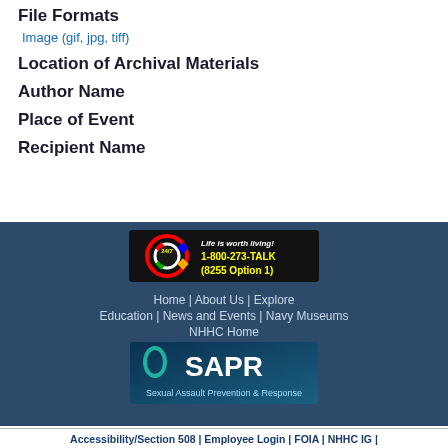File Formats
Image (gif, jpg, tiff)
Location of Archival Materials
Author Name
Place of Event
Recipient Name
[Figure (infographic): Life is worth living banner: 24/7 1-800-273-TALK (8255 Option 1)]
Home | About Us | Explore
Education | News and Events | Navy Museums
NHHC Home
[Figure (infographic): SAPR - Sexual Assault Prevention & Response banner]
Accessibility/Section 508 | Employee Login | FOIA | NHHC IG |